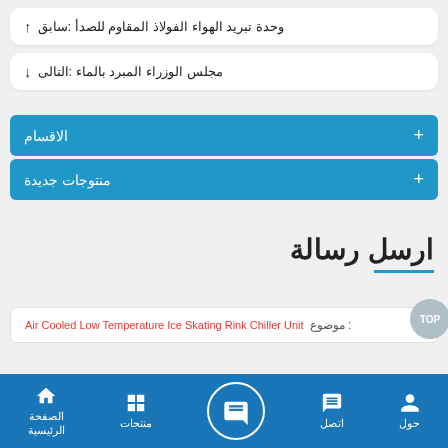سابق: وحدة تبريد الهواء الفولاذ المقاوم للصدأ ↑
التالى: مجلس الوزراء المبرد بالماء ↓
الاقسام +
منتوجات جديدة +
ارسل رسالة
موضوع : Air Cooled Low Temperature Ice Skating Rink Chiller Unit
حول | اتصل | [chat] | منتجات | الصفحة الرئيسية